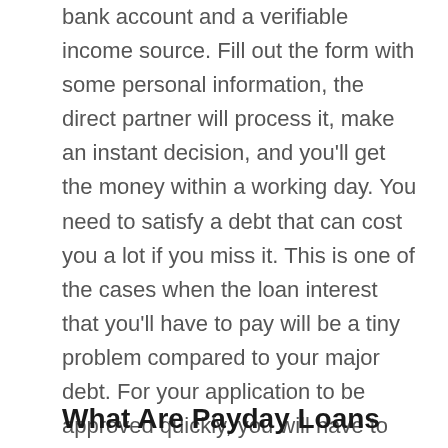bank account and a verifiable income source. Fill out the form with some personal information, the direct partner will process it, make an instant decision, and you'll get the money within a working day. You need to satisfy a debt that can cost you a lot if you miss it. This is one of the cases when the loan interest that you'll have to pay will be a tiny problem compared to your major debt. For your application to be approved quickly, you will have to provide contact information as well—a phone number and email so that lenders can reach you easily.
What Are Payday Loans